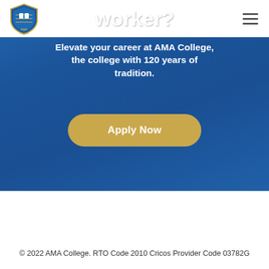[Figure (logo): AMA College shield logo with blue and gold colors and text 'AMA COLLEGE' beneath]
worker?
Elevate your career at AMA College, the college with 120 years of tradition.
Apply Now
© 2022 AMA College. RTO Code 2010 Cricos Provider Code 03782G